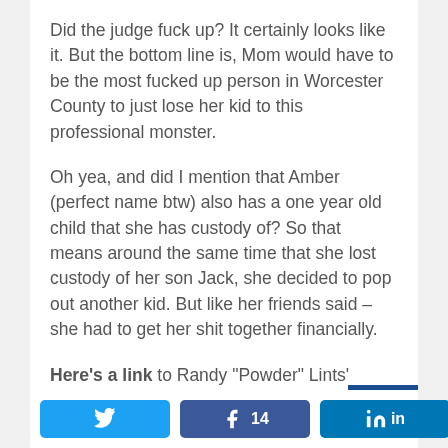Did the judge fuck up? It certainly looks like it. But the bottom line is, Mom would have to be the most fucked up person in Worcester County to just lose her kid to this professional monster.
Oh yea, and did I mention that Amber (perfect name btw) also has a one year old child that she has custody of? So that means around the same time that she lost custody of her son Jack, she decided to pop out another kid. But like her friends said – she had to get her shit together financially.
Here's a link to Randy "Powder" Lints' Facebook page. It looks like he's had a pretty productive year of parenting:
[Figure (other): Social share buttons: Twitter, Facebook (14 shares), LinkedIn, and a share count showing < 14 SHARES]